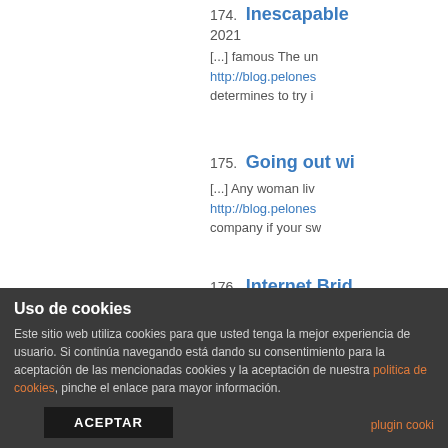174. Inescapable
2021
[...] famous The un http://blog.pelones determines to try i
175. Going out wi
[...] Any woman liv http://blog.pelones company if your sw
176. Internet Brid
29 abril, 2021
[...] http://blog.pelo many net brides on
177. Discovering W kiralık ekipma
Uso de cookies
Este sitio web utiliza cookies para que usted tenga la mejor experiencia de usuario. Si continúa navegando está dando su consentimiento para la aceptación de las mencionadas cookies y la aceptación de nuestra politica de cookies, pinche el enlace para mayor información.
ACEPTAR
plugin cooki